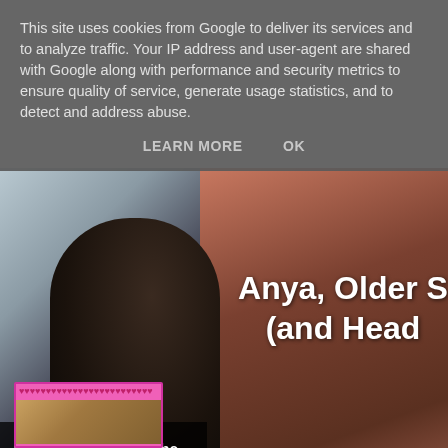This site uses cookies from Google to deliver its services and to analyze traffic. Your IP address and user-agent are shared with Google along with performance and security metrics to ensure quality of service, generate usage statistics, and to detect and address abuse.
LEARN MORE    OK
[Figure (screenshot): YouTube video thumbnail showing a person with dark hair against a blurred background. Text overlay reads 'Anya, Older S (and Head' with a 'Watch on YouTube' bar at the bottom left.]
[Figure (photo): Partial view of a pink/magenta decorated image with hearts along the border at the bottom of the page.]